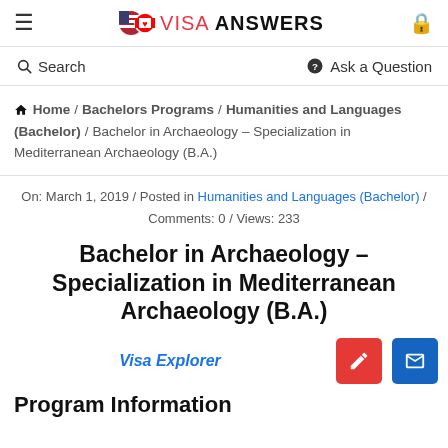≡  🇺🇸🇨🇦 VISA ANSWERS  🔒
🔍 Search   ❓ Ask a Question
Home / Bachelors Programs / Humanities and Languages (Bachelor) / Bachelor in Archaeology – Specialization in Mediterranean Archaeology (B.A.)
On: March 1, 2019 / Posted in Humanities and Languages (Bachelor) / Comments: 0 / Views: 233
Bachelor in Archaeology – Specialization in Mediterranean Archaeology (B.A.)
Visa Explorer
Program Information